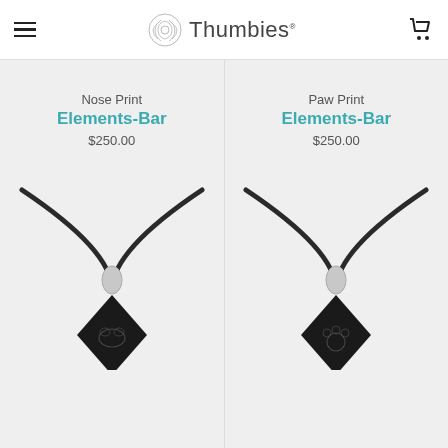Thumbies
[Figure (illustration): Nose Print Elements-Bar necklace pendant — black diamond-shaped gemstone engraved with a nose print, on a dark cord with silver bail]
Nose Print
Elements-Bar
$250.00
[Figure (illustration): Paw Print Elements-Bar necklace pendant — black diamond-shaped gemstone engraved with a paw print, on a dark cord with silver bail]
Paw Print
Elements-Bar
$250.00